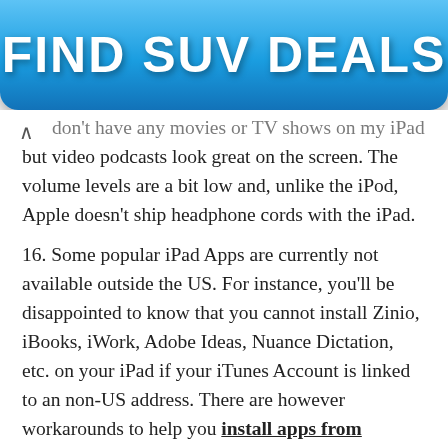[Figure (other): Blue advertisement banner button with text FIND SUV DEALS in bold white letters]
don't have any movies or TV shows on my iPad but video podcasts look great on the screen. The volume levels are a bit low and, unlike the iPod, Apple doesn't ship headphone cords with the iPad.
16. Some popular iPad Apps are currently not available outside the US. For instance, you'll be disappointed to know that you cannot install Zinio, iBooks, iWork, Adobe Ideas, Nuance Dictation, etc. on your iPad if your iTunes Account is linked to an non-US address. There are however workarounds to help you install apps from anywhere.
17. Unless you have a Mac and the iPhone OS SDK, it is impossible to record a video of your iPad screen